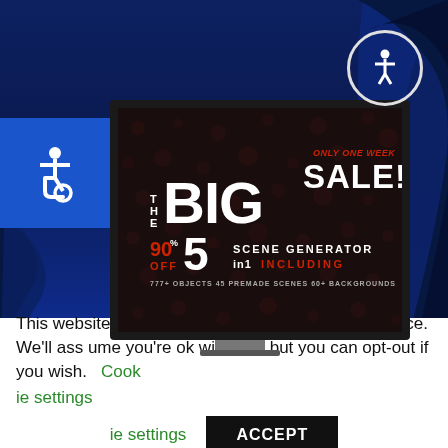[Figure (screenshot): Website screenshot showing a big sale advertisement on a dark monitor screen with blue background. Shows 'THE BIG SALE! ONLY ONE WEEK 90% OFF 5in1 SCENE GENERATOR INCLUDING 777+ OBJECTS 45 PREMADE SCENES 60+ BACKGROUNDS'. Accessibility icons visible top-left and top-right.]
This website uses cookies to improve your experience. We'll assume you're ok with this, but you can opt-out if you wish. Cookie settings ACCEPT